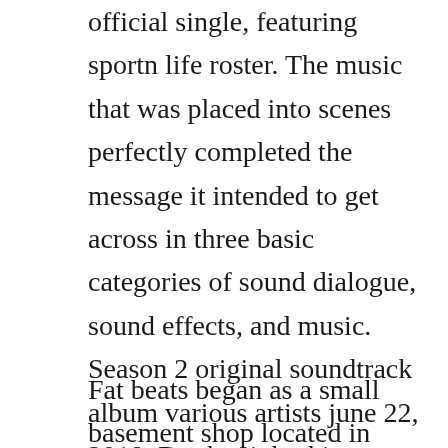official single, featuring sportn life roster. The music that was placed into scenes perfectly completed the message it intended to get across in three basic categories of sound dialogue, sound effects, and music. Season 2 original soundtrack album various artists june 22, 2018. Do the right thing soundtrack from 1989, composed by various artists. Download the right thing a duck down joint 2009, 128 kbps.
Fat beats began as a small basement shop located in manhattans lower east side. To give